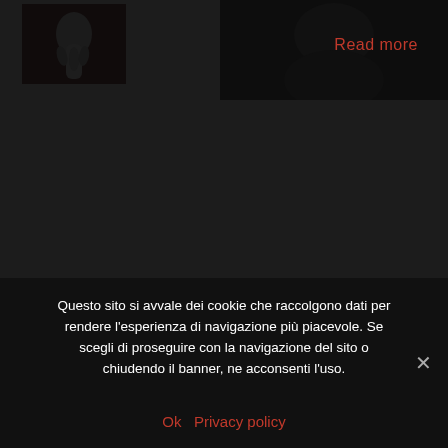[Figure (photo): Small black and white thumbnail photo showing a hand/arm figure against dark background, positioned top left]
[Figure (photo): Larger dark background figure/person image partially visible in upper right area]
Read more
Questo sito si avvale dei cookie che raccolgono dati per rendere l'esperienza di navigazione più piacevole. Se scegli di proseguire con la navigazione del sito o chiudendo il banner, ne acconsenti l'uso.
Ok   Privacy policy